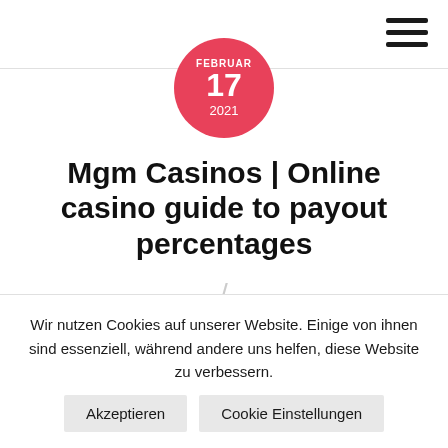[Figure (other): Date badge: a pink/red circle showing FEBRUAR 17 2021]
Mgm Casinos | Online casino guide to payout percentages
Best online gambling sites by location
Dash casino ja, but are far from reliable and preferable. Here you sell on behalf of one particular
Wir nutzen Cookies auf unserer Website. Einige von ihnen sind essenziell, während andere uns helfen, diese Website zu verbessern. Akzeptieren Cookie Einstellungen